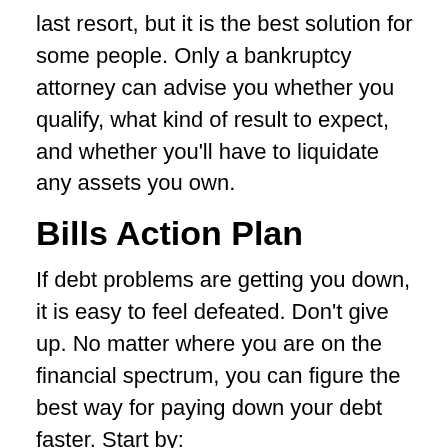last resort, but it is the best solution for some people. Only a bankruptcy attorney can advise you whether you qualify, what kind of result to expect, and whether you'll have to liquidate any assets you own.
Bills Action Plan
If debt problems are getting you down, it is easy to feel defeated. Don't give up. No matter where you are on the financial spectrum, you can figure the best way for paying down your debt faster. Start by:
1. Avoiding minimum payments.
2. Keeping a budget.